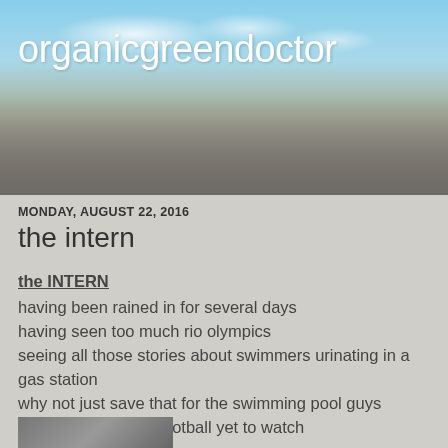[Figure (photo): Blog header banner with sky, road, and trees background image]
organicgreendoctor
MONDAY, AUGUST 22, 2016
the intern
the INTERN
having been rained in for several days
having seen too much rio olympics
seeing all those stories about swimmers urinating in a gas station
why not just save that for the swimming pool guys
having not enough football yet to watch
i said to my wife she
lets find a movie on tv
so on hbo
there was the movie the intern with robert deniro and anne hathaway
[Figure (photo): Partial photo at bottom of page, appears to be a movie still]